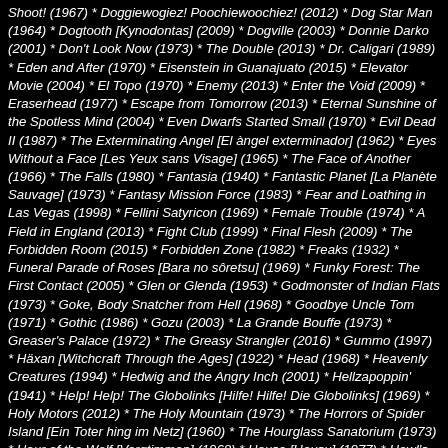Shoot! (1967) * Doggiewogiez! Poochiewoochiez! (2012) * Dog Star Man (1964) * Dogtooth [Kynodontas] (2009) * Dogville (2003) * Donnie Darko (2001) * Don't Look Now (1973) * The Double (2013) * Dr. Caligari (1989) * Eden and After (1970) * Eisenstein in Guanajuato (2015) * Elevator Movie (2004) * El Topo (1970) * Enemy (2013) * Enter the Void (2009) * Eraserhead (1977) * Escape from Tomorrow (2013) * Eternal Sunshine of the Spotless Mind (2004) * Even Dwarfs Started Small (1970) * Evil Dead II (1987) * The Exterminating Angel [El àngel exterminador] (1962) * Eyes Without a Face [Les Yeux sans Visage] (1965) * The Face of Another (1966) * The Falls (1980) * Fantasia (1940) * Fantastic Planet [La Planète Sauvage] (1973) * Fantasy Mission Force (1983) * Fear and Loathing in Las Vegas (1998) * Fellini Satyricon (1969) * Female Trouble (1974) * A Field in England (2013) * Fight Club (1999) * Final Flesh (2009) * The Forbidden Room (2015) * Forbidden Zone (1982) * Freaks (1932) * Funeral Parade of Roses [Bara no sôretsu] (1969) * Funky Forest: The First Contact (2005) * Glen or Glenda (1953) * Godmonster of Indian Flats (1973) * Goke, Body Snatcher from Hell (1968) * Goodbye Uncle Tom (1971) * Gothic (1986) * Gozu (2003) * La Grande Bouffe (1973) * Greaser's Palace (1972) * The Greasy Strangler (2016) * Gummo (1997) * Häxan [Witchcraft Through the Ages] (1922) * Head (1968) * Heavenly Creatures (1994) * Hedwig and the Angry Inch (2001) * Hellzapoppin' (1941) * Help! Help! The Globolinks [Hilfe! Hilfe! Die Globolinks] (1969) * Holy Motors (2012) * The Holy Mountain (1973) * The Horrors of Spider Island [Ein Toter hing im Netz] (1960) * The Hourglass Sanatorium (1973) * Hour of the Wolf [Vargtimmen] (1968) * House [Hausu] (1977) * Howl's Moving Castle